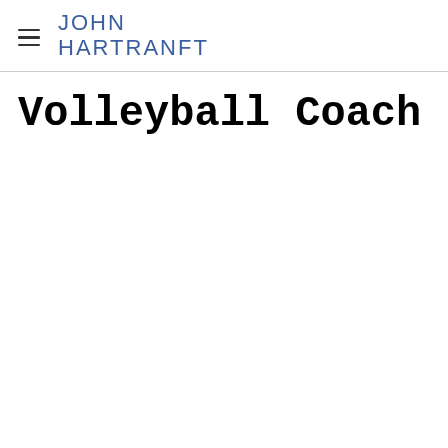JOHN HARTRANFT
Volleyball Coach